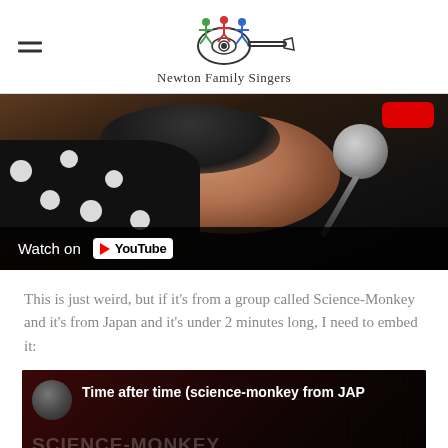Newton Family Singers
[Figure (screenshot): YouTube video thumbnail showing a close-up of a person with a microphone, with 'Watch on YouTube' bar at the bottom]
This is just weird, but if it’s from a group called Science-Monkey and it’s from Japan and it’s under 2 minutes long, I need to embed it:
[Figure (screenshot): YouTube video thumbnail for 'Time after time (science-monkey from JAP' showing dark red background with Science-Monkey text]